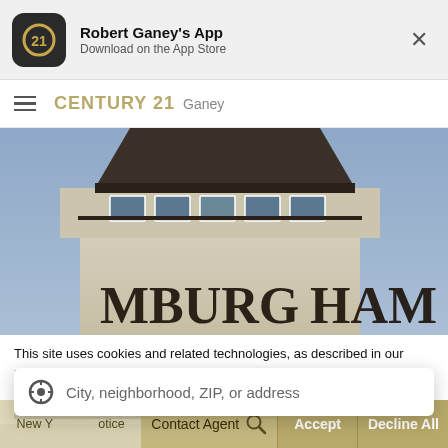[Figure (screenshot): App store banner showing Century 21 Ganey real estate app with dark rounded square icon, title 'Robert Ganey's App', subtitle 'Download on the App Store', and an X close button]
[Figure (logo): Century 21 Ganey navigation bar with hamburger menu, CENTURY 21 gold bold text, and 'Ganey' gray subtitle]
[Figure (photo): Photo of Hamburg building tower/cupola with large windows and partial text reading 'MBURG HAM' on the facade against a blue sky]
This site uses cookies and related technologies, as described in our privacy policy, for purposes that may include site operation, analytics, enhanced use to consent to ur own preferences.
[Figure (screenshot): Search autocomplete dropdown with location crosshair icon and placeholder text: City, neighborhood, ZIP, or address]
[Figure (screenshot): Bottom navigation bar showing: New Y... otice | Contact Agent (with search icon) | Accept | Decline All]